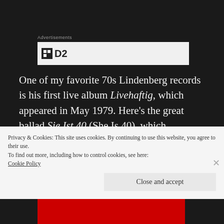Advertisements
[Figure (screenshot): Advertisement placeholder box with a logo showing a black square icon and 'D2' text]
One of my favorite 70s Lindenberg records is his first live album Livehaftig, which appeared in May 1979. Here’s the great ballad Sie Ist 40 (She Is 40), which represents the reflective side of Lindenberg. The tune is about a 40‑year‑old
Privacy & Cookies: This site uses cookies. By continuing to use this website, you agree to their use.
To find out more, including how to control cookies, see here:
Cookie Policy
Close and accept